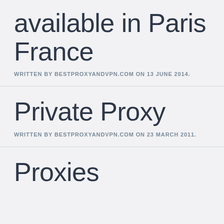available in Paris France
WRITTEN BY BESTPROXYANDVPN.COM ON 13 JUNE 2014.
Private Proxy
WRITTEN BY BESTPROXYANDVPN.COM ON 23 MARCH 2011.
Proxies